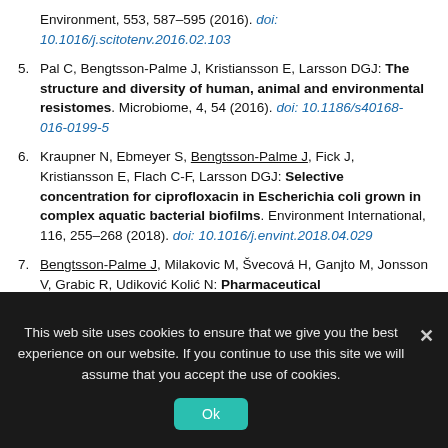Environment, 553, 587–595 (2016). doi: 10.1016/j.scitotenv.2016.02.103
5. Pal C, Bengtsson-Palme J, Kristiansson E, Larsson DGJ: The structure and diversity of human, animal and environmental resistomes. Microbiome, 4, 54 (2016). doi: 10.1186/s40168-016-0199-5
6. Kraupner N, Ebmeyer S, Bengtsson-Palme J, Fick J, Kristiansson E, Flach C-F, Larsson DGJ: Selective concentration for ciprofloxacin in Escherichia coli grown in complex aquatic bacterial biofilms. Environment International, 116, 255–268 (2018). doi: 10.1016/j.envint.2018.04.029
7. Bengtsson-Palme J, Milakovic M, Švecová H, Ganjto M, Jonsson V, Grabic R, Udiković Kolić N: Pharmaceutical...
This web site uses cookies to ensure that we give you the best experience on our website. If you continue to use this site we will assume that you accept the use of cookies.